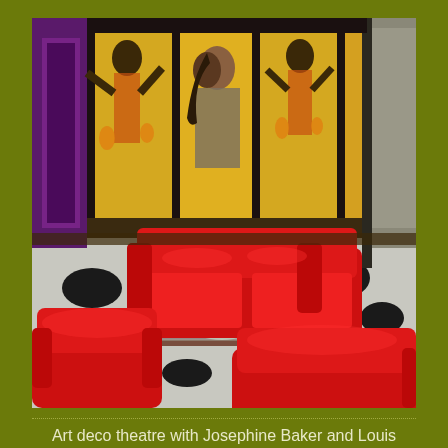[Figure (photo): Interior of an art deco theatre lobby featuring bold red leather sofa and armchairs, a glass coffee table with a bowl of fruit and books, a black and white patterned carpet, and yellow decorative wall panels with painted figures including Josephine Baker and Louis Armstrong murals. Purple and dark architectural elements frame the scene.]
Art deco theatre with Josephine Baker and Louis Armstrong wall panels.